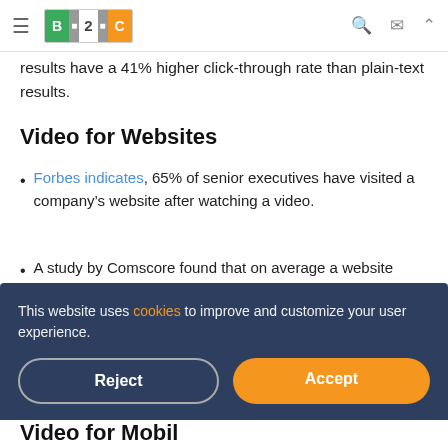≡ B2C [logo] 🔍 ✉ ▲
results have a 41% higher click-through rate than plain-text results.
Video for Websites
Forbes indicates, 65% of senior executives have visited a company's website after watching a video.
A study by Comscore found that on average a website visitor will stay two minutes longer on a site when they
This website uses cookies to improve and customize your user experience.
Reject  Accept
Video for Mobil...